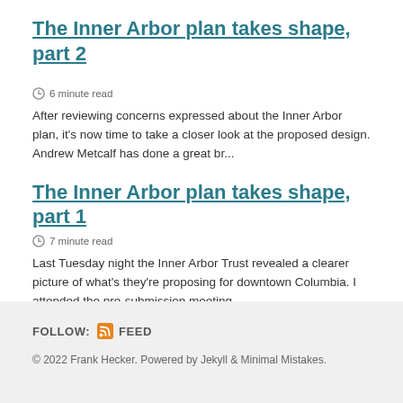The Inner Arbor plan takes shape, part 2
⏱ 6 minute read
After reviewing concerns expressed about the Inner Arbor plan, it's now time to take a closer look at the proposed design. Andrew Metcalf has done a great br...
The Inner Arbor plan takes shape, part 1
⏱ 7 minute read
Last Tuesday night the Inner Arbor Trust revealed a clearer picture of what's they're proposing for downtown Columbia. I attended the pre-submission meeting,...
FOLLOW: FEED
© 2022 Frank Hecker. Powered by Jekyll & Minimal Mistakes.